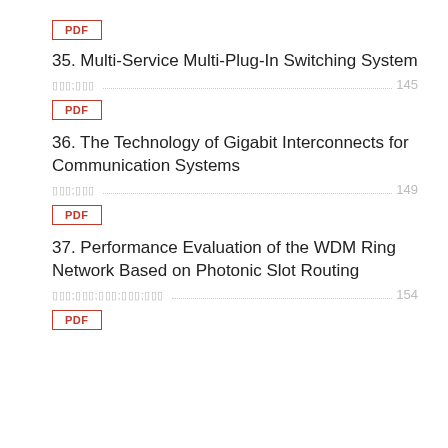[Figure (other): PDF button at top of page]
35. Multi-Service Multi-Plug-In Switching System
authors ................................................. 145
[Figure (other): PDF button for item 35]
36. The Technology of Gigabit Interconnects for Communication Systems
authors ................................................. 149
[Figure (other): PDF button for item 36]
37. Performance Evaluation of the WDM Ring Network Based on Photonic Slot Routing
authors ................................................. 154
[Figure (other): PDF button for item 37]